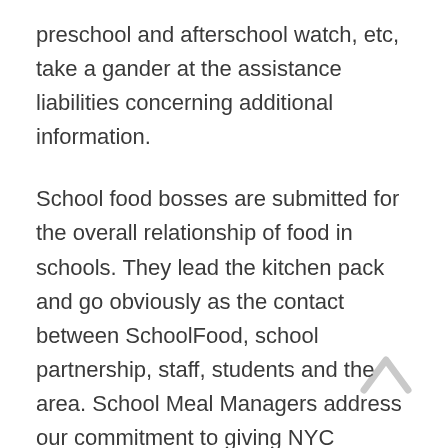preschool and afterschool watch, etc, take a gander at the assistance liabilities concerning additional information.
School food bosses are submitted for the overall relationship of food in schools. They lead the kitchen pack and go obviously as the contact between SchoolFood, school partnership, staff, students and the area. School Meal Managers address our commitment to giving NYC students a sound, delectable, and satisfying menu.
Head conditions in the OFNS kitchen are filled by entering your name at the close by cooking division where you should work.